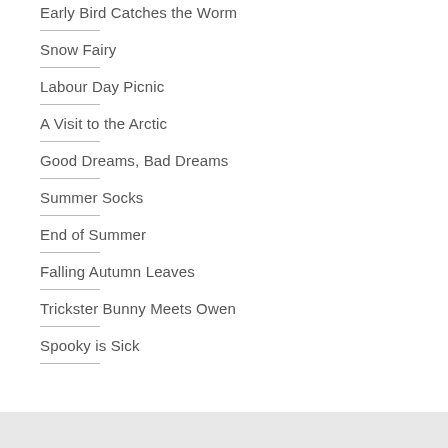Early Bird Catches the Worm
Snow Fairy
Labour Day Picnic
A Visit to the Arctic
Good Dreams, Bad Dreams
Summer Socks
End of Summer
Falling Autumn Leaves
Trickster Bunny Meets Owen
Spooky is Sick